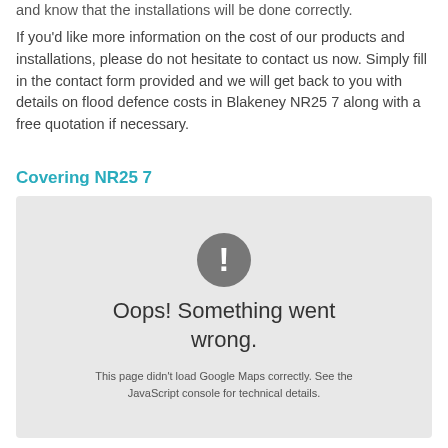and know that the installations will be done correctly.
If you'd like more information on the cost of our products and installations, please do not hesitate to contact us now. Simply fill in the contact form provided and we will get back to you with details on flood defence costs in Blakeney NR25 7 along with a free quotation if necessary.
Covering NR25 7
[Figure (screenshot): Google Maps error state showing a grey box with an exclamation mark icon, the text 'Oops! Something went wrong.' and 'This page didn't load Google Maps correctly. See the JavaScript console for technical details.']